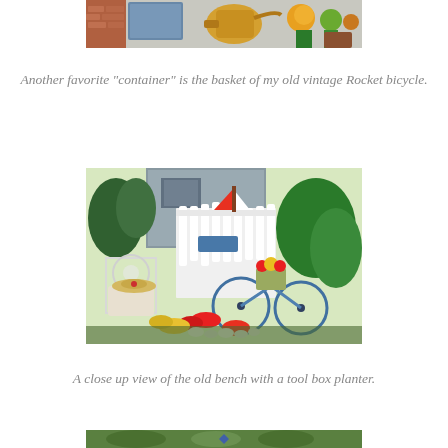[Figure (photo): Top portion of a garden photo showing flowers and watering can, cropped at top of page]
Another favorite "container" is the basket of my old vintage Rocket bicycle.
[Figure (photo): Garden scene with vintage blue bicycle used as planter, white picket fence, ornate white chair, straw hat on wicker table, red and yellow flowers, green shrubs, and decorative sailboat on fence]
A close up view of the old bench with a tool box planter.
[Figure (photo): Bottom portion of another garden photo, partially visible at bottom of page]